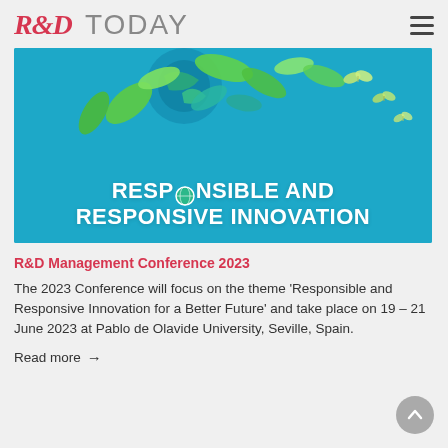R&D TODAY
[Figure (illustration): Banner image with teal/blue background showing stylized globe, green leaves, and butterflies with bold white text: RESPONSIBLE AND RESPONSIVE INNOVATION]
R&D Management Conference 2023
The 2023 Conference will focus on the theme 'Responsible and Responsive Innovation for a Better Future' and take place on 19 – 21 June 2023 at Pablo de Olavide University, Seville, Spain.
Read more →